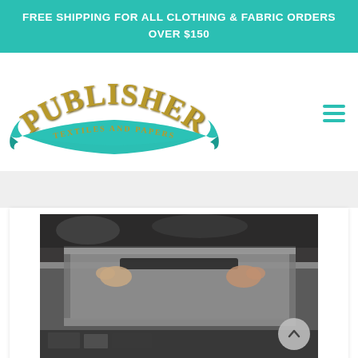FREE SHIPPING FOR ALL CLOTHING & FABRIC ORDERS OVER $150
[Figure (logo): Publisher Textiles and Papers logo — stylized vintage lettering 'PUBLISHER' in gold with teal ribbon banner reading 'TEXTILES AND PAPERS']
[Figure (photo): Hands working on a screen printing frame/table in a workshop setting, dark toned photography]